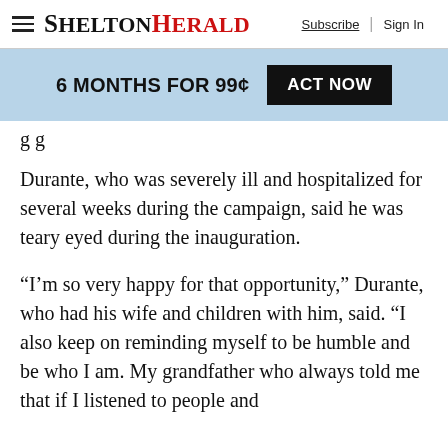SHELTONHERALD — Subscribe | Sign In
[Figure (infographic): Promotional banner: 6 MONTHS FOR 99¢ ACT NOW button]
g g
Durante, who was severely ill and hospitalized for several weeks during the campaign, said he was teary eyed during the inauguration.
“I’m so very happy for that opportunity,” Durante, who had his wife and children with him, said. “I also keep on reminding myself to be humble and be who I am. My grandfather who always told me that if I listened to people and